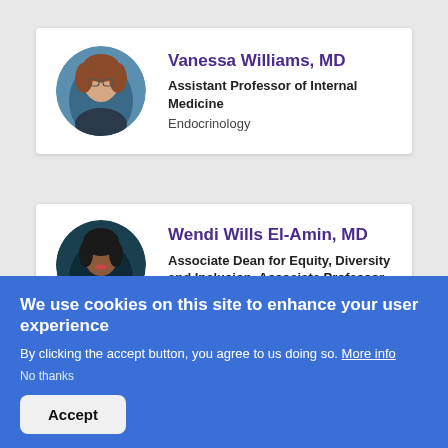[Figure (photo): Circular profile photo of Vanessa Williams, MD — woman with curly reddish-brown hair and glasses, blue background]
Vanessa Williams, MD
Assistant Professor of Internal Medicine
Endocrinology
[Figure (photo): Circular profile photo of Wendi Wills El-Amin, MD — woman with dark hair, dark teal background]
Wendi Wills El-Amin, MD
Associate Dean for Equity, Diversity and Inclusion, Associate Professor of
We use cookies on this site to enhance your user experience
By clicking the accept button, you agree to us doing so. More info
No thanks
Accept